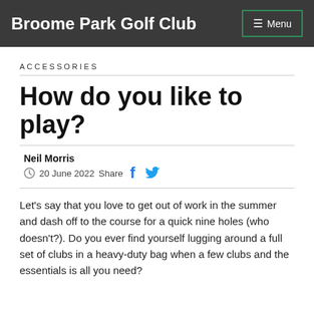Broome Park Golf Club
ACCESSORIES
How do you like to play?
Neil Morris
20 June 2022 Share
Let's say that you love to get out of work in the summer and dash off to the course for a quick nine holes (who doesn't?). Do you ever find yourself lugging around a full set of clubs in a heavy-duty bag when a few clubs and the essentials is all you need?